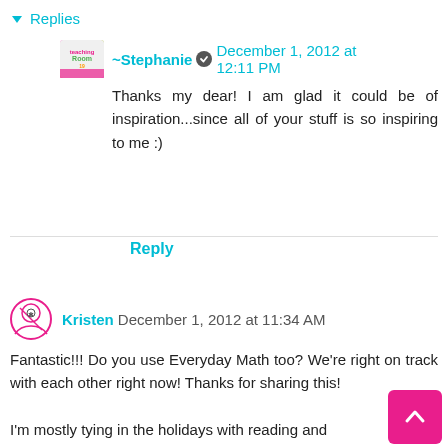▾ Replies
~Stephanie ✓ December 1, 2012 at 12:11 PM
Thanks my dear! I am glad it could be of inspiration...since all of your stuff is so inspiring to me :)
Reply
Kristen December 1, 2012 at 11:34 AM
Fantastic!!! Do you use Everyday Math too? We're right on track with each other right now! Thanks for sharing this!
I'm mostly tying in the holidays with reading and